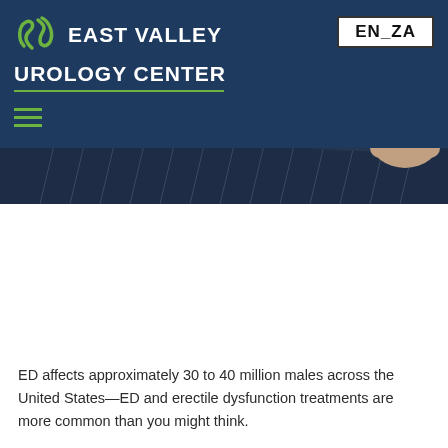East Valley Urology Center — EN_ZA
[Figure (photo): A man's torso pulling open the waistband of navy blue pinstriped trousers, showing bare stomach]
ED affects approximately 30 to 40 million males across the United States—ED and erectile dysfunction treatments are more common than you might think.
In fact, the words “erectile dysfunction treatments” are searched over 5000 times every month on Google. This simple statistic